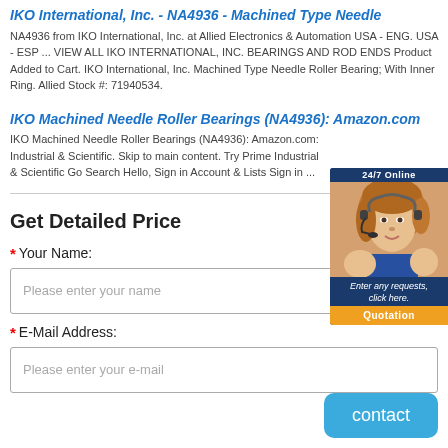IKO International, Inc. - NA4936 - Machined Type Needle
NA4936 from IKO International, Inc. at Allied Electronics & Automation USA - ENG. USA - ESP ... VIEW ALL IKO INTERNATIONAL, INC. BEARINGS AND ROD ENDS Product Added to Cart. IKO International, Inc. Machined Type Needle Roller Bearing; With Inner Ring. Allied Stock #: 71940534.
IKO Machined Needle Roller Bearings (NA4936): Amazon.com
IKO Machined Needle Roller Bearings (NA4936): Amazon.com: Industrial & Scientific. Skip to main content. Try Prime Industrial & Scientific Go Search Hello, Sign in Account & Lists Sign in ...
[Figure (photo): Ad widget showing a woman with a headset, 24/7 Online badge, tagline 'Enter any requests, click here.' and a Quotation button]
Get Detailed Price
* Your Name:
Please enter your name
* E-Mail Address:
Please enter your e-mail
[Figure (other): Blue 'contact' button in bottom right corner]